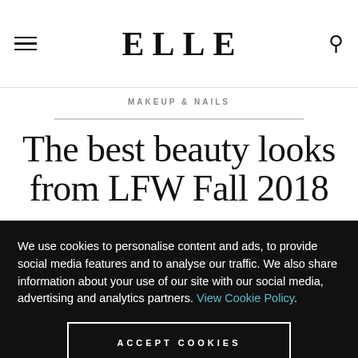ELLE
MAKEUP & NAILS
The best beauty looks from LFW Fall 2018
We use cookies to personalise content and ads, to provide social media features and to analyse our traffic. We also share information about your use of our site with our social media, advertising and analytics partners. View Cookie Policy.
ACCEPT COOKIES